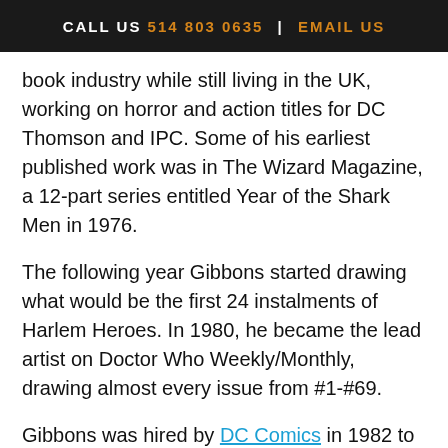CALL US 514 803 0635 | EMAIL US
book industry while still living in the UK, working on horror and action titles for DC Thomson and IPC. Some of his earliest published work was in The Wizard Magazine, a 12-part series entitled Year of the Shark Men in 1976.
The following year Gibbons started drawing what would be the first 24 instalments of Harlem Heroes. In 1980, he became the lead artist on Doctor Who Weekly/Monthly, drawing almost every issue from #1-#69.
Gibbons was hired by DC Comics in 1982 to draw Green Lantern Corps, a run of backup stories for the Green Lantern series. He